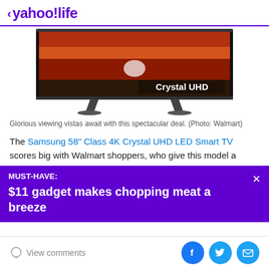< yahoo!life
[Figure (photo): Samsung Crystal UHD TV with stand showing a scenic landscape with water and rocks. White text 'Crystal UHD' is overlaid on the lower right of the screen.]
Glorious viewing vistas await with this spectacular deal. (Photo: Walmart)
The Samsung 58" Class 4K Crystal UHD LED Smart TV scores big with Walmart shoppers, who give this model a
MUST-HAVE: $11 gadget makes chopping meat a breeze
View comments